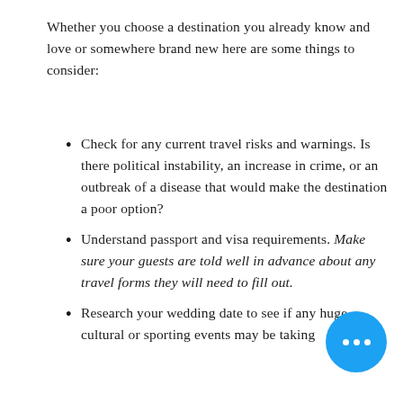Whether you choose a destination you already know and love or somewhere brand new here are some things to consider:
Check for any current travel risks and warnings. Is there political instability, an increase in crime, or an outbreak of a disease that would make the destination a poor option?
Understand passport and visa requirements. Make sure your guests are told well in advance about any travel forms they will need to fill out.
Research your wedding da… see if any huge cultural or sporting events may be taking…